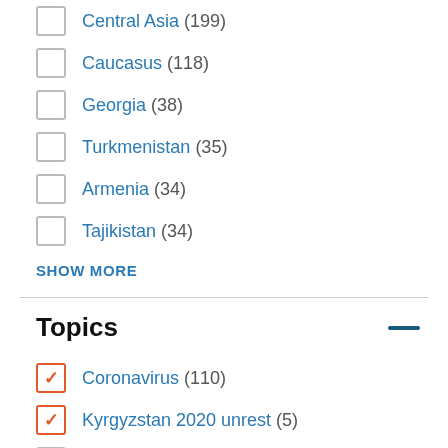Central Asia (199)
Caucasus (118)
Georgia (38)
Turkmenistan (35)
Armenia (34)
Tajikistan (34)
SHOW MORE
Topics
Coronavirus (110) [checked]
Kyrgyzstan 2020 unrest (5) [checked]
Society (106)